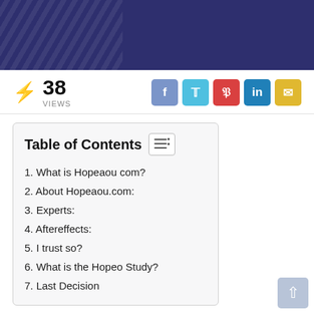[Figure (illustration): Dark navy blue header banner with diagonal chevron/zigzag pattern on left side]
38 VIEWS
[Figure (infographic): Social share buttons: Facebook (blue), Twitter (cyan), Pinterest (red), LinkedIn (blue), Email (yellow)]
| 1. What is Hopeaou com? |
| 2. About Hopeaou.com: |
| 3. Experts: |
| 4. Aftereffects: |
| 5. I trust so? |
| 6. What is the Hopeo Study? |
| 7. Last Decision |
Hopeaou Reviews has examined web-based items and made the outcomes openly accessible to make it simpler for purchasers to shop on the web.